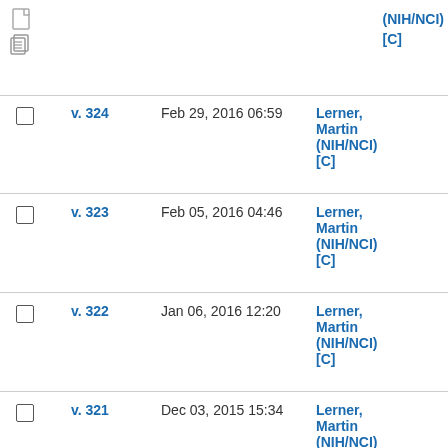(NIH/NCI) [C] — top partial row
v. 324 | Feb 29, 2016 06:59 | Lerner, Martin (NIH/NCI) [C]
v. 323 | Feb 05, 2016 04:46 | Lerner, Martin (NIH/NCI) [C]
v. 322 | Jan 06, 2016 12:20 | Lerner, Martin (NIH/NCI) [C]
v. 321 | Dec 03, 2015 15:34 | Lerner, Martin (NIH/NCI) [C]
v. 320 | Nov 09, 2015 18:00 | Warzel, Denise (NIH/NCI)